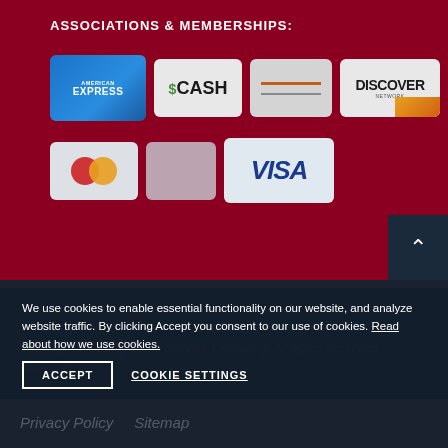ASSOCIATIONS & MEMBERSHIPS:
[Figure (logo): Payment method logos on dark red background: American Express, Cash, partially visible card, Discover Network, Mastercard, partially visible card, Visa]
We use cookies to enable essential functionality on our website, and analyze website traffic. By clicking Accept you consent to our use of cookies. Read about how we use cookies.
Copyright Heating & Air Inc Company. All rights reserved
Privacy Policy   Sitemap
ACCEPT
COOKIE SETTINGS